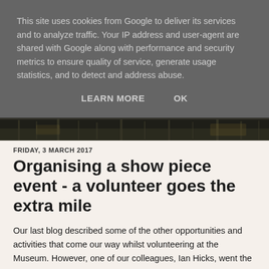This site uses cookies from Google to deliver its services and to analyze traffic. Your IP address and user-agent are shared with Google along with performance and security metrics to ensure quality of service, generate usage statistics, and to detect and address abuse.
LEARN MORE    OK
[Figure (photo): Narrow horizontal strip showing a museum interior with dark silhouette of vehicles and display structures]
FRIDAY, 3 MARCH 2017
Organising a show piece event - a volunteer goes the extra mile
Our last blog described some of the other opportunities and activities that come our way whilst volunteering at the Museum. However, one of our colleagues, Ian Hicks, went the extra mile, when in September last year he volunteered to become one of the prime organisers for the forthcoming British Motor Museum Symposium on 25 March.
This is Ian's fascinating story of what it all involved: